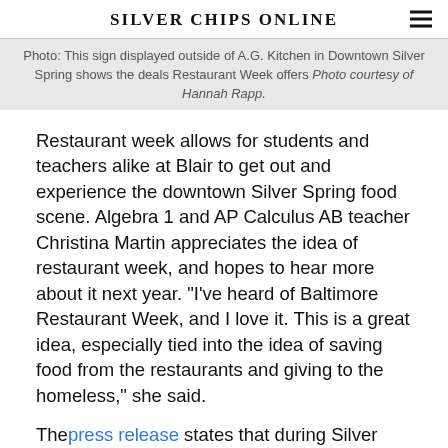Silver Chips Online
Photo: This sign displayed outside of A.G. Kitchen in Downtown Silver Spring shows the deals Restaurant Week offers Photo courtesy of Hannah Rapp.
Restaurant week allows for students and teachers alike at Blair to get out and experience the downtown Silver Spring food scene. Algebra 1 and AP Calculus AB teacher Christina Martin appreciates the idea of restaurant week, and hopes to hear more about it next year. "I've heard of Baltimore Restaurant Week, and I love it. This is a great idea, especially tied into the idea of saving food from the restaurants and giving to the homeless," she said.
The press release states that during Silver Spring Restaurant Week, surplus food from the restaurants will be donated to community groups including Interfaith Works